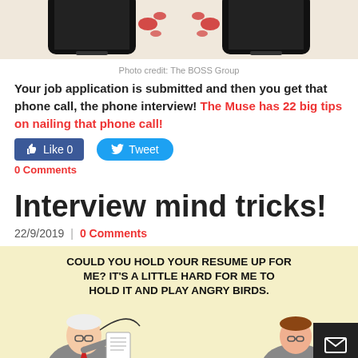[Figure (illustration): Top portion of an illustration showing two smartphones with phone interview imagery, beige/tan background]
Photo credit: The BOSS Group
Your job application is submitted and then you get that phone call, the phone interview!  The Muse has 22 big tips on nailing that phone call!
[Figure (screenshot): Facebook Like button showing 0 likes and Twitter Tweet button]
0 Comments
Interview mind tricks!
22/9/2019  |  0 Comments
[Figure (illustration): Comic illustration on yellow background. Text reads: COULD YOU HOLD YOUR RESUME UP FOR ME? IT'S A LITTLE HARD FOR ME TO HOLD IT AND PLAY ANGRY BIRDS. Shows two figures: an older interviewer and a younger interviewee.]